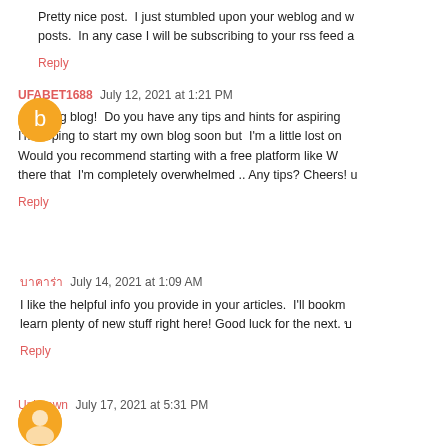Pretty nice post. I just stumbled upon your weblog and w... posts. In any case I will be subscribing to your rss feed a...
Reply
UFABET1688  July 12, 2021 at 1:21 PM
Amazing blog! Do you have any tips and hints for aspiring... I'm hoping to start my own blog soon but I'm a little lost on... Would you recommend starting with a free platform like W... there that I'm completely overwhelmed .. Any tips? Cheers! u...
Reply
บาคาร่า  July 14, 2021 at 1:09 AM
I like the helpful info you provide in your articles. I'll bookm... learn plenty of new stuff right here! Good luck for the next. บ...
Reply
Unknown  July 17, 2021 at 5:31 PM